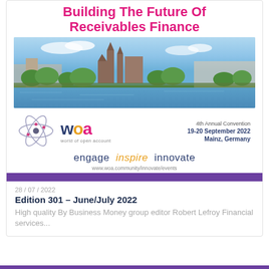Building The Future Of Receivables Finance
[Figure (photo): Cityscape of Mainz, Germany showing Gothic cathedral spires, riverside with trees and buildings, river in foreground]
[Figure (logo): WOA (World of Open Account) logo with atom icon; 4th Annual Convention 19-20 September 2022, Mainz, Germany]
engage  inspire  innovate
www.woa.community/innovate/events
28/07/2022
Edition 301 – June/July 2022
High quality By Business Money group editor Robert Lefroy Financial services...